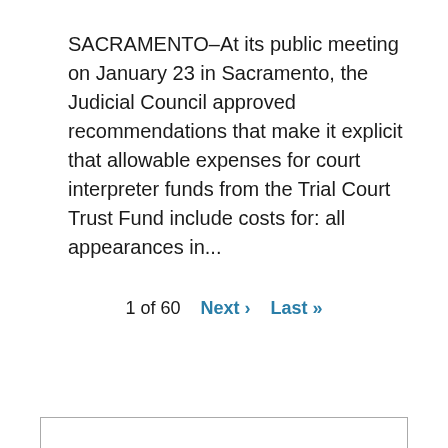SACRAMENTO–At its public meeting on January 23 in Sacramento, the Judicial Council approved recommendations that make it explicit that allowable expenses for court interpreter funds from the Trial Court Trust Fund include costs for: all appearances in...
1 of 60   Next ›   Last »